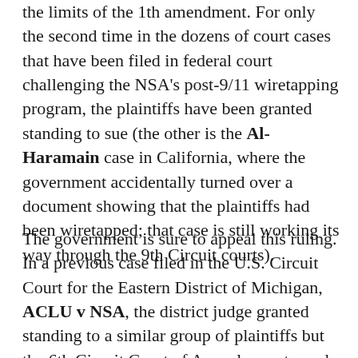the limits of the 1th amendment. For only the second time in the dozens of court cases that have been filed in federal court challenging the NSA's post-9/11 wiretapping program, the plaintiffs have been granted standing to sue (the other is the Al-Haramain case in California, where the government accidentally turned over a document showing that the plaintiffs had been wiretapped; that case is still working its way through the 9th Circuit courts).
The government is sure to appeal this ruling. In a previous case filed in the U.S. Circuit Court for the Eastern District of Michigan, ACLU v NSA, the district judge granted standing to a similar group of plaintiffs but the 6th Circuit Court of Appeals overturned that ruling and the Supreme Court denied cert in an appeal. The conflict between the two circuits